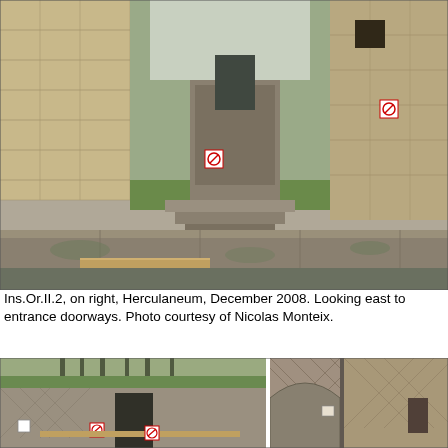[Figure (photo): Photograph of ancient ruins at Herculaneum showing stone walls, steps, entrance doorways, and green grass, looking east. December 2008.]
Ins.Or.II.2, on right, Herculaneum, December 2008. Looking east to entrance doorways. Photo courtesy of Nicolas Monteix.
[Figure (photo): Two photographs side by side of ancient ruins at Herculaneum showing stone walls with opus reticulatum masonry, arches, and surrounding trees.]